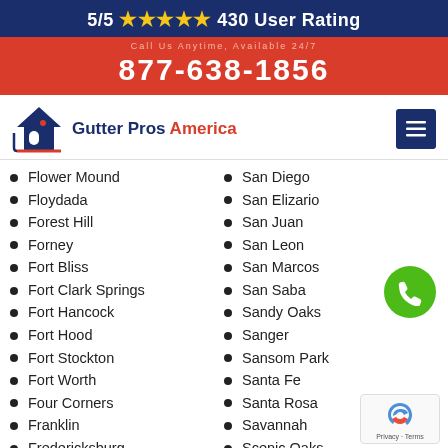5/5 ★★★★★ 430 User Rating
877-638-1856
[Figure (logo): Gutter Pros America logo with house icon]
Flower Mound
Floydada
Forest Hill
Forney
Fort Bliss
Fort Clark Springs
Fort Hancock
Fort Hood
Fort Stockton
Fort Worth
Four Corners
Franklin
Fredericksburg
San Diego
San Elizario
San Juan
San Leon
San Marcos
San Saba
Sandy Oaks
Sanger
Sansom Park
Santa Fe
Santa Rosa
Savannah
Scenic Oaks